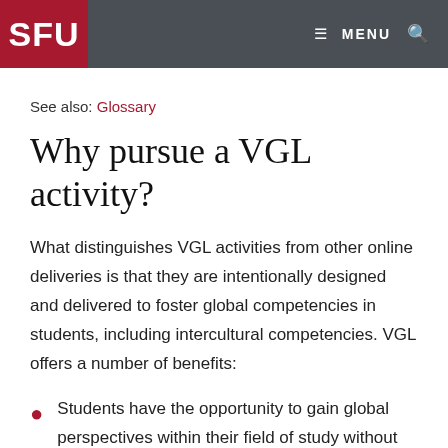SFU | MENU
See also: Glossary
Why pursue a VGL activity?
What distinguishes VGL activities from other online deliveries is that they are intentionally designed and delivered to foster global competencies in students, including intercultural competencies. VGL offers a number of benefits:
Students have the opportunity to gain global perspectives within their field of study without needing to spend time abroad (Jones & Reiffenrath, 2018).